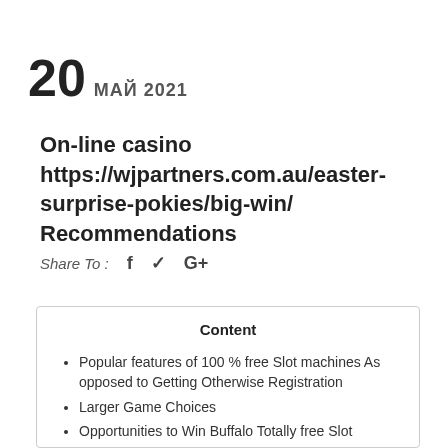20 МАЙ 2021
On-line casino https://wjpartners.com.au/easter-surprise-pokies/big-win/ Recommendations
Share To :  f  ♦  G+
Content
Popular features of 100 % free Slot machines As opposed to Getting Otherwise Registration
Larger Game Choices
Opportunities to Win Buffalo Totally free Slot